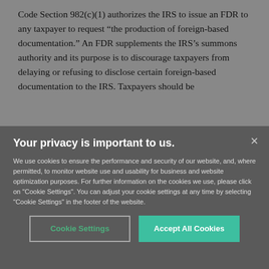Code Section 982(c)(1) authorizes the IRS to issue an FDR to any taxpayer to request “the production of foreign-based documentation.” An FDR supplements the IRS’s summons authority and its purpose is to discourage taxpayers from delaying or refusing to disclose certain foreign-based documentation to the IRS. Taxpayers should be
Your privacy is important to us.
We use cookies to ensure the performance and security of our website, and, where permitted, to monitor website use and usability for business and website optimization purposes. For further information on the cookies we use, please click on "Cookie Settings". You can adjust your cookie settings at any time by selecting "Cookie Settings" in the footer of the website.
Cookie Settings
Accept All Cookies